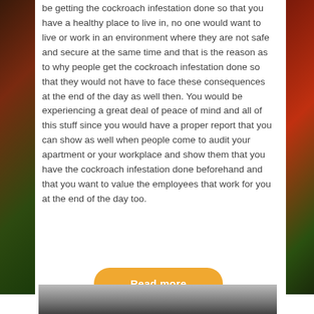be getting the cockroach infestation done so that you have a healthy place to live in, no one would want to live or work in an environment where they are not safe and secure at the same time and that is the reason as to why people get the cockroach infestation done so that they would not have to face these consequences at the end of the day as well then. You would be experiencing a great deal of peace of mind and all of this stuff since you would have a proper report that you can show as well when people come to audit your apartment or your workplace and show them that you have the cockroach infestation done beforehand and that you want to value the employees that work for you at the end of the day too.
[Figure (other): Orange rounded rectangle button labeled 'Read more' in white bold text]
[Figure (photo): Bottom strip showing a blurred food/vegetable background image]